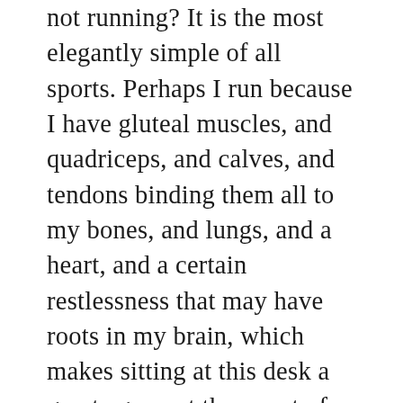not running? It is the most elegantly simple of all sports. Perhaps I run because I have gluteal muscles, and quadriceps, and calves, and tendons binding them all to my bones, and lungs, and a heart, and a certain restlessness that may have roots in my brain, which makes sitting at this desk a great agony at the worst of times.